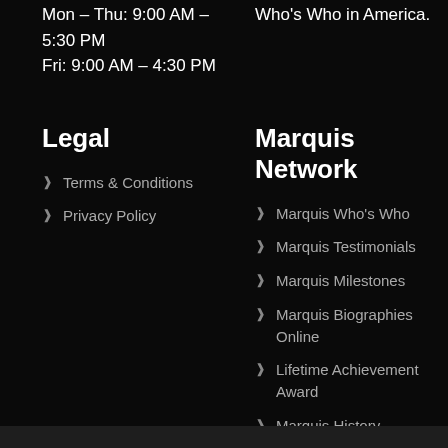Mon – Thu: 9:00 AM – 5:30 PM
Fri: 9:00 AM – 4:30 PM
Who's Who in America.
Legal
Terms & Conditions
Privacy Policy
Marquis Network
Marquis Who's Who
Marquis Testimonials
Marquis Milestones
Marquis Biographies Online
Lifetime Achievement Award
Marquis History